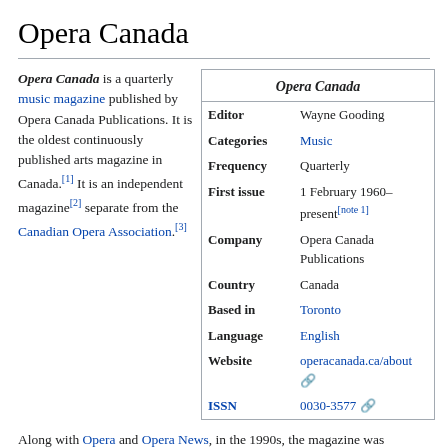Opera Canada
Opera Canada is a quarterly music magazine published by Opera Canada Publications. It is the oldest continuously published arts magazine in Canada.[1] It is an independent magazine[2] separate from the Canadian Opera Association.[3]
|  | Opera Canada |
| --- | --- |
| Editor | Wayne Gooding |
| Categories | Music |
| Frequency | Quarterly |
| First issue | 1 February 1960–present[note 1] |
| Company | Opera Canada Publications |
| Country | Canada |
| Based in | Toronto |
| Language | English |
| Website | operacanada.ca/about |
| ISSN | 0030-3577 |
Along with Opera and Opera News, in the 1990s, the magazine was considered to be one of the three major opera publications in the English-speaking world.[4]
History